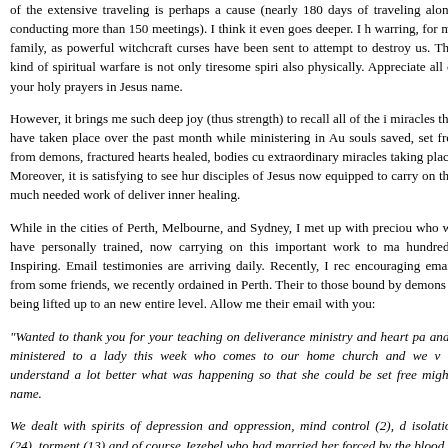of the extensive traveling is perhaps a cause (nearly 180 days of traveling alone; conducting more than 150 meetings). I think it even goes deeper. I have been warring, for my family, as powerful witchcraft curses have been sent to me to attempt to destroy us. This kind of spiritual warfare is not only tiresome spiritually also physically. Appreciate all of your holy prayers in Jesus name.
However, it brings me such deep joy (thus strength) to recall all of the incredible miracles that have taken place over the past month while ministering in Australia; souls saved, set free from demons, fractured hearts healed, bodies cured, extraordinary miracles taking place. Moreover, it is satisfying to see hundreds of disciples of Jesus now equipped to carry on this much needed work of deliverance and inner healing.
While in the cities of Perth, Melbourne, and Sydney, I met up with precious friends who we have personally trained, now carrying on this important work to many hundreds. Inspiring. Email testimonies are arriving daily. Recently, I received an encouraging email, from some friends, we recently ordained in Perth. Their ministry to those bound by demons is being lifted up to an new entire level. Allow me to share their email with you:
“Wanted to thank you for your teaching on deliverance ministry and heart pa and I ministered to a lady this week who comes to our home church and we w to understand a lot better what was happening so that she could be set free mighty name.
We dealt with spirits of depression and oppression, mind control (2), d isolation (24), torment (13) and of course Jezebel who had married her forced by the blood of Jesus to take off all sorts of rings and regalia. We a across 3 month old heart part, and a 3 year old heart part and a 6 year old h